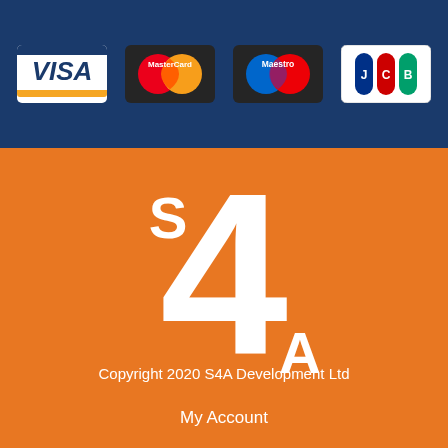[Figure (logo): Payment card logos: VISA, MasterCard, Maestro, JCB on dark blue background]
[Figure (logo): S4A logo — large white numeral 4 with S upper-left and A lower-right on orange background]
Copyright 2020 S4A Development Ltd
My Account